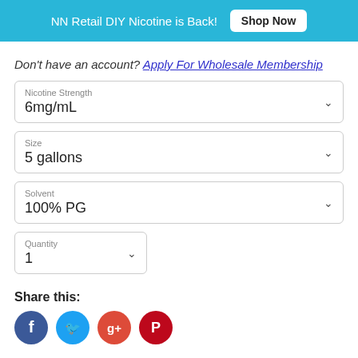NN Retail DIY Nicotine is Back! Shop Now
Don't have an account? Apply For Wholesale Membership
Nicotine Strength
6mg/mL
Size
5 gallons
Solvent
100% PG
Quantity
1
Share this:
[Figure (other): Social share icons: Facebook, Twitter, Google+, Pinterest]